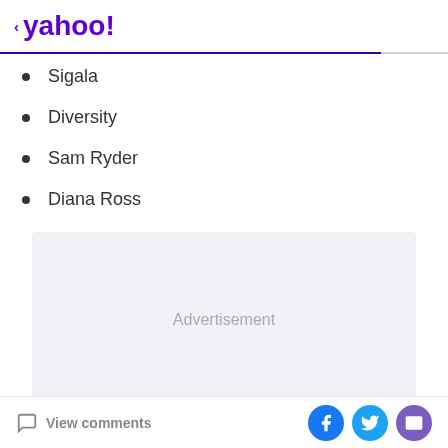< yahoo!
Sigala
Diversity
Sam Ryder
Diana Ross
[Figure (other): Advertisement placeholder box with light gray background]
View comments | Facebook share | Twitter share | Email share